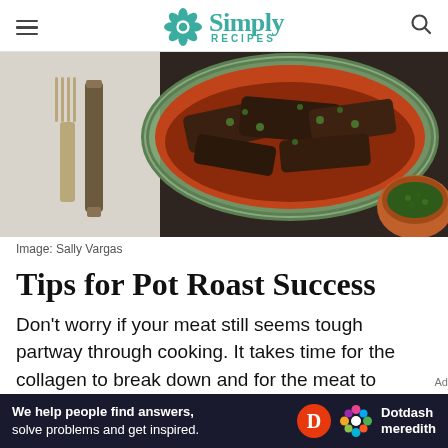Simply Recipes
[Figure (photo): Overhead view of a pot roast in a green braising pan with tomato-based sauce and fresh herbs, alongside a fork and knife on a cloth napkin, and a small terracotta bowl of herbs]
Image: Sally Vargas
Tips for Pot Roast Success
Don't worry if your meat still seems tough partway through cooking. It takes time for the collagen to break down and for the meat to become tender. When done, it should easily pull apart with a fork
[Figure (other): Dotdash Meredith advertisement bar: 'We help people find answers, solve problems and get inspired.']